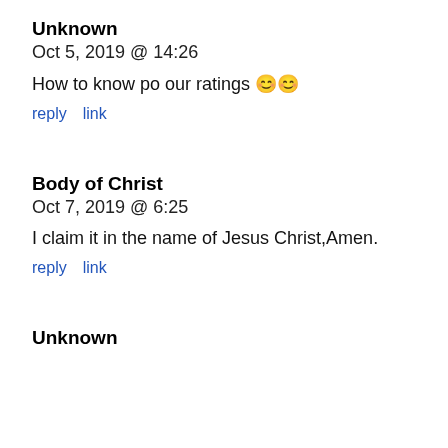Unknown
Oct 5, 2019 @ 14:26
How to know po our ratings 😊😊
reply   link
Body of Christ
Oct 7, 2019 @ 6:25
I claim it in the name of Jesus Christ,Amen.
reply   link
Unknown